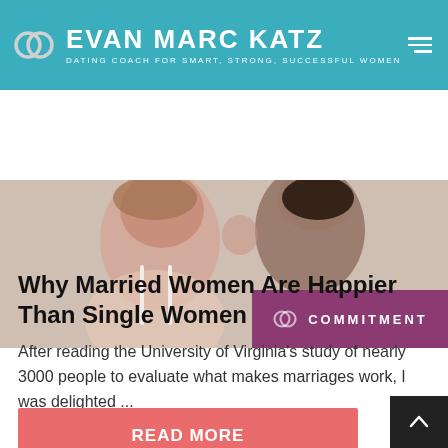EVAN MARC KATZ — DATING COACH FOR SMART, STRONG, SUCCESSFUL WOMEN
[Figure (photo): Photo of a couple close together, woman in white top, man behind her, with a purple 'COMMITMENT' badge overlay in the bottom right corner]
Why Married Women Are Happier Than Single Women
After reading the University of Virginia's study of nearly 3000 people to evaluate what makes marriages work, I was delighted ...
READ MORE